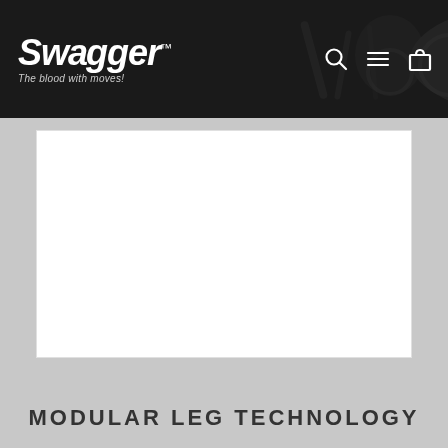Swagger™ — The blood with moves!
[Figure (screenshot): Swagger brand website header with logo on left, athlete silhouette background image in center, and navigation icons (search, menu, cart) on right. Dark/black background.]
[Figure (photo): Large white blank product image area — product photo placeholder on a white background]
MODULAR LEG TECHNOLOGY